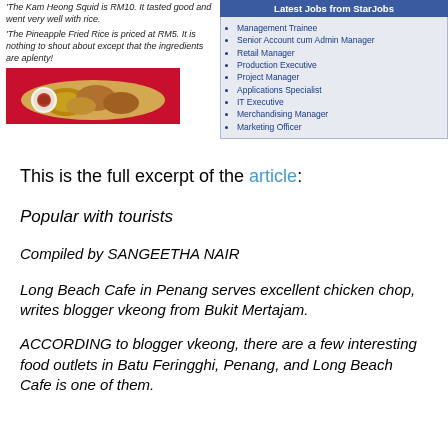'The Kam Heong Squid is RM10. It tasted good and went very well with rice.
'The Pineapple Fried Rice is priced at RM5. It is nothing to shout about except that the ingredients are aplenty!
[Figure (photo): Photo of fried food on a red plate with a small bowl of dipping sauce]
[Figure (screenshot): Latest Jobs from StarJobs listing box with blue header]
Management Trainee
Senior Account cum Admin Manager
Retail Manager
Production Executive
Project Manager
Applications Specialist
IT Executive
Merchandising Manager
Marketing Officer
This is the full excerpt of the article:
Popular with tourists
Compiled by SANGEETHA NAIR
Long Beach Cafe in Penang serves excellent chicken chop, writes blogger vkeong from Bukit Mertajam.
ACCORDING to blogger vkeong, there are a few interesting food outlets in Batu Feringghi, Penang, and Long Beach Cafe is one of them.